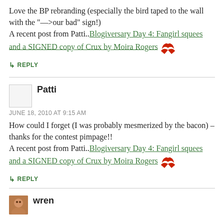Love the BP rebranding (especially the bird taped to the wall with the "—>our bad" sign!) A recent post from Patti..Blogiversary Day 4: Fangirl squees and a SIGNED copy of Crux by Moira Rogers
↳ REPLY
Patti
JUNE 18, 2010 AT 9:15 AM
How could I forget (I was probably mesmerized by the bacon) – thanks for the contest pimpage!! A recent post from Patti..Blogiversary Day 4: Fangirl squees and a SIGNED copy of Crux by Moira Rogers
↳ REPLY
wren